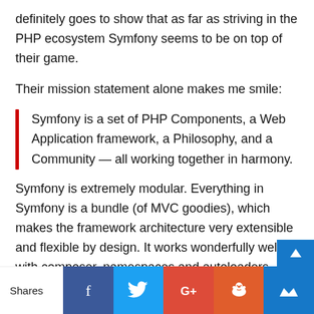definitely goes to show that as far as striving in the PHP ecosystem Symfony seems to be on top of their game.
Their mission statement alone makes me smile:
Symfony is a set of PHP Components, a Web Application framework, a Philosophy, and a Community — all working together in harmony.
Symfony is extremely modular. Everything in Symfony is a bundle (of MVC goodies), which makes the framework architecture very extensible and flexible by design. It works wonderfully well with composer, namespaces and autoloaders... all important aspects of a well structured application.
Shares [Facebook] [Twitter] [G+] [Reddit] [Bookmark]